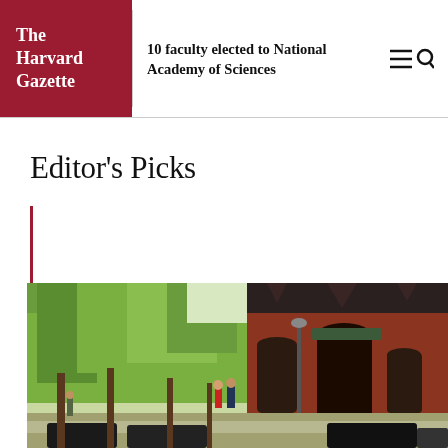The Harvard Gazette
10 faculty elected to National Academy of Sciences
Editor's Picks
[Figure (photo): Outdoor campus scene showing brick buildings with Gothic architecture, green trees, and people walking on a sunny day — likely Harvard campus.]